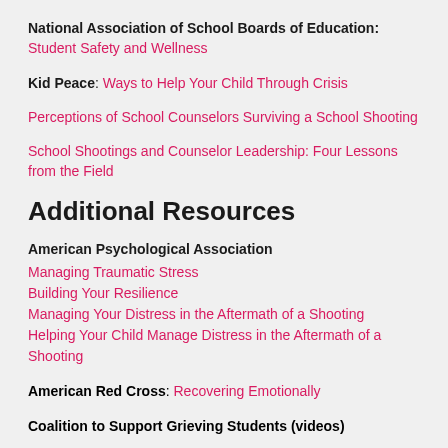National Association of School Boards of Education: Student Safety and Wellness
Kid Peace: Ways to Help Your Child Through Crisis
Perceptions of School Counselors Surviving a School Shooting
School Shootings and Counselor Leadership: Four Lessons from the Field
Additional Resources
American Psychological Association
Managing Traumatic Stress
Building Your Resilience
Managing Your Distress in the Aftermath of a Shooting
Helping Your Child Manage Distress in the Aftermath of a Shooting
American Red Cross: Recovering Emotionally
Coalition to Support Grieving Students (videos)